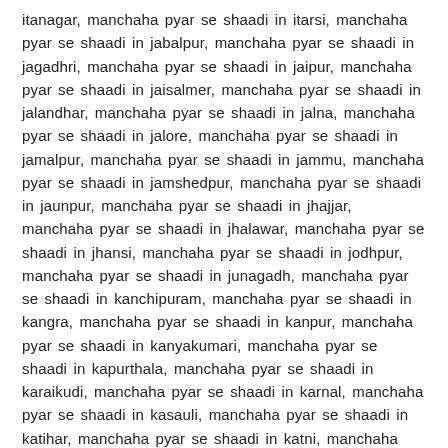itanagar, manchaha pyar se shaadi in itarsi, manchaha pyar se shaadi in jabalpur, manchaha pyar se shaadi in jagadhri, manchaha pyar se shaadi in jaipur, manchaha pyar se shaadi in jaisalmer, manchaha pyar se shaadi in jalandhar, manchaha pyar se shaadi in jalna, manchaha pyar se shaadi in jalore, manchaha pyar se shaadi in jamalpur, manchaha pyar se shaadi in jammu, manchaha pyar se shaadi in jamshedpur, manchaha pyar se shaadi in jaunpur, manchaha pyar se shaadi in jhajjar, manchaha pyar se shaadi in jhalawar, manchaha pyar se shaadi in jhansi, manchaha pyar se shaadi in jodhpur, manchaha pyar se shaadi in junagadh, manchaha pyar se shaadi in kanchipuram, manchaha pyar se shaadi in kangra, manchaha pyar se shaadi in kanpur, manchaha pyar se shaadi in kanyakumari, manchaha pyar se shaadi in kapurthala, manchaha pyar se shaadi in karaikudi, manchaha pyar se shaadi in karnal, manchaha pyar se shaadi in kasauli, manchaha pyar se shaadi in katihar, manchaha pyar se shaadi in katni, manchaha pyar se shaadi in khajuraho, manchaha pyar se shaadi in khandala,